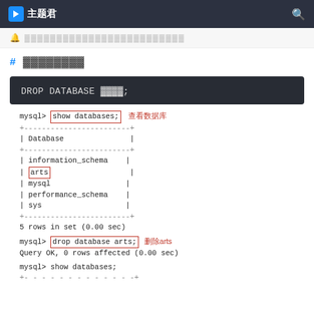主题君
（通知栏文字）
# 删除数据库
[Figure (screenshot): SQL code block showing: DROP DATABASE 数据库名;]
[Figure (screenshot): MySQL terminal showing show databases and drop database arts commands with annotations 查看数据库 and 删除arts]